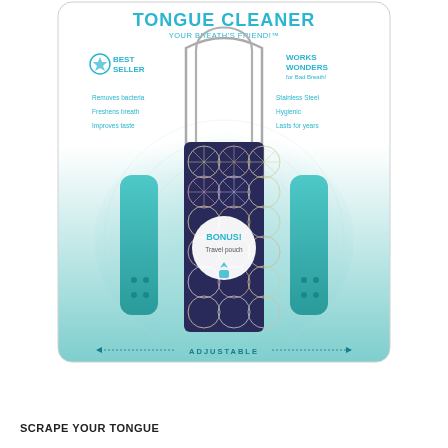[Figure (photo): Product packaging for a Tongue Cleaner — 'Your Breath's Friend!' with two teal scraper handles, a stainless steel U-shaped wire scraper, a decorative travel pouch with geometric pattern, on a white-to-teal gradient card background. Labels include: Best Seller, Works Wonders for Bad Breath!, Removes bacteria, Freshens breath, Improves taste, Stainless Steel, Hygienic, Lasts for years, BONUS! Travel pouch, ADJUSTABLE.]
SCRAPE YOUR TONGUE